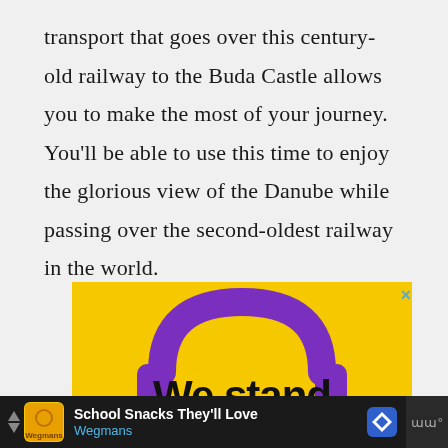transport that goes over this century-old railway to the Buda Castle allows you to make the most of your journey. You'll be able to use this time to enjoy the glorious view of the Danube while passing over the second-oldest railway in the world.
[Figure (infographic): Advertisement banner with yellow background, purple headphones graphic, and bold black text reading 'We stand with you']
School Snacks They'll Love — Wegmans